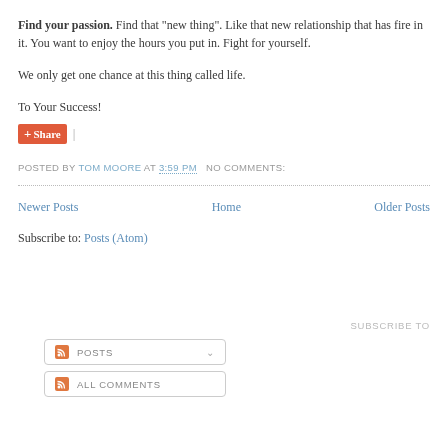Find your passion. Find that "new thing". Like that new relationship that has fire in it. You want to enjoy the hours you put in. Fight for yourself.
We only get one chance at this thing called life.
To Your Success!
[Share button] Share |
POSTED BY TOM MOORE AT 3:59 PM   NO COMMENTS:
Newer Posts   Home   Older Posts
Subscribe to: Posts (Atom)
SUBSCRIBE TO
POSTS
ALL COMMENTS